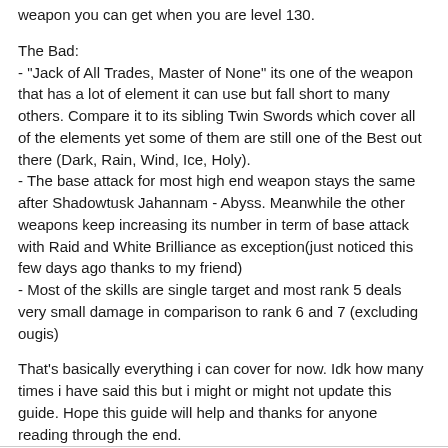weapon you can get when you are level 130.
The Bad:
- "Jack of All Trades, Master of None" its one of the weapon that has a lot of element it can use but fall short to many others. Compare it to its sibling Twin Swords which cover all of the elements yet some of them are still one of the Best out there (Dark, Rain, Wind, Ice, Holy).
- The base attack for most high end weapon stays the same after Shadowtusk Jahannam - Abyss. Meanwhile the other weapons keep increasing its number in term of base attack with Raid and White Brilliance as exception(just noticed this few days ago thanks to my friend)
- Most of the skills are single target and most rank 5 deals very small damage in comparison to rank 6 and 7 (excluding ougis)
That's basically everything i can cover for now. Idk how many times i have said this but i might or might not update this guide. Hope this guide will help and thanks for anyone reading through the end.
Cheers~